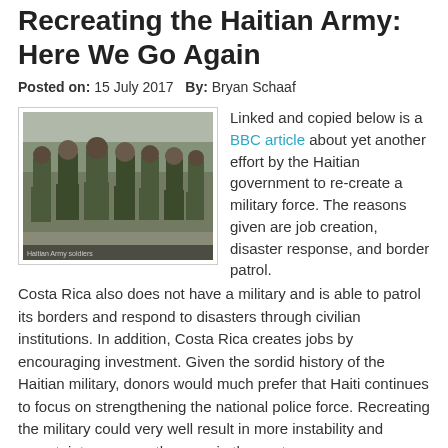Recreating the Haitian Army: Here We Go Again
Posted on: 15 July 2017   By: Bryan Schaaf
[Figure (photo): Haitian soldiers in camouflage uniforms marching in formation on a road]
Linked and copied below is a BBC article about yet another effort by the Haitian government to re-create a military force. The reasons given are job creation, disaster response, and border patrol.  Costa Rica also does not have a military and is able to patrol its borders and respond to disasters through civilian institutions.  In addition, Costa Rica creates jobs by encouraging investment.  Given the sordid history of the Haitian military, donors would much prefer that Haiti continues to focus on strengthening the national police force.  Recreating the military could very well result in more instability and uncertainty - as was the case in the past.